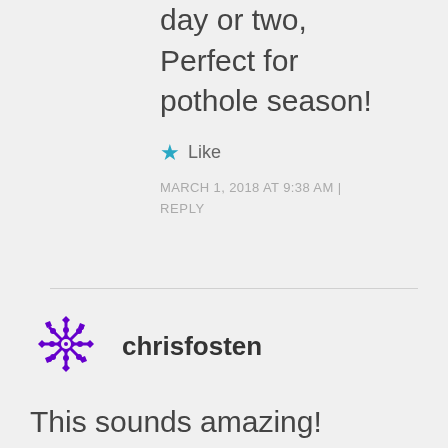day or two, Perfect for pothole season!
Like
MARCH 1, 2018 AT 9:38 AM | REPLY
[Figure (logo): Purple decorative snowflake/geometric avatar for user chrisfosten]
chrisfosten
This sounds amazing! Not cooked chilli for a while, but I'll have to now!